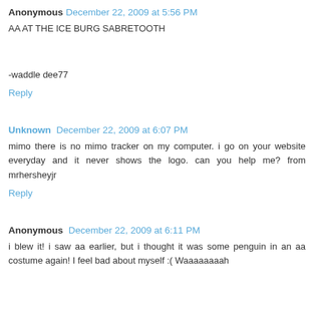Anonymous December 22, 2009 at 5:56 PM
AA AT THE ICE BURG SABRETOOTH
-waddle dee77
Reply
Unknown December 22, 2009 at 6:07 PM
mimo there is no mimo tracker on my computer. i go on your website everyday and it never shows the logo. can you help me? from mrhersheyjr
Reply
Anonymous December 22, 2009 at 6:11 PM
i blew it! i saw aa earlier, but i thought it was some penguin in an aa costume again! I feel bad about myself :( Waaaaaaaah